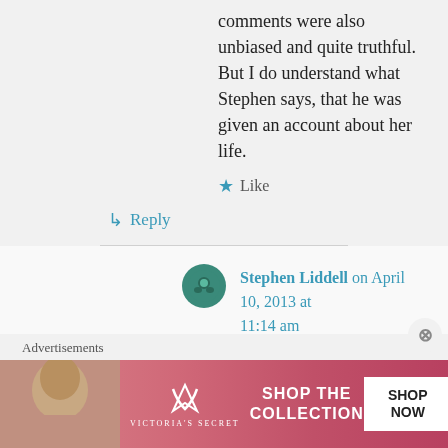comments were also unbiased and quite truthful. But I do understand what Stephen says, that he was given an account about her life.
★ Like
↳ Reply
Stephen Liddell on April 10, 2013 at 11:14 am
I can't disagree with lots of Wyon says either. It would be interesting
Advertisements
[Figure (photo): Victoria's Secret advertisement banner with model, VS logo, 'SHOP THE COLLECTION' text, and 'SHOP NOW' button]